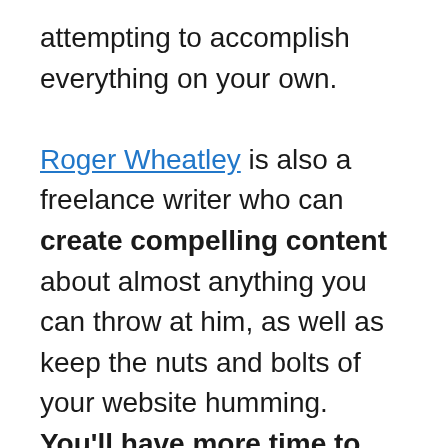attempting to accomplish everything on your own.

Roger Wheatley is also a freelance writer who can create compelling content about almost anything you can throw at him, as well as keep the nuts and bolts of your website humming. You'll have more time to focus on growing your business once